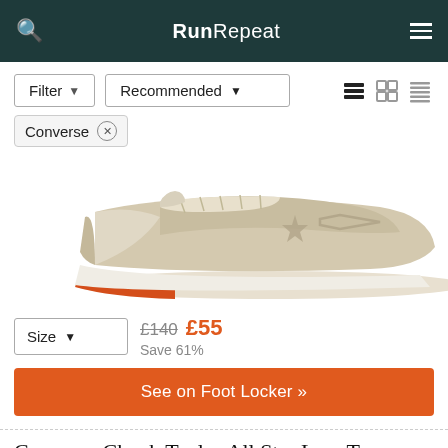RunRepeat
Filter ▾  Recommended ▾
Converse ×
[Figure (photo): Converse Chuck Taylor sneaker, beige/cream colorway with orange midsole accent, side profile view]
Size ▾  £140  £55  Save 61%
See on Foot Locker »
Converse Chuck Taylor All Star Low Top